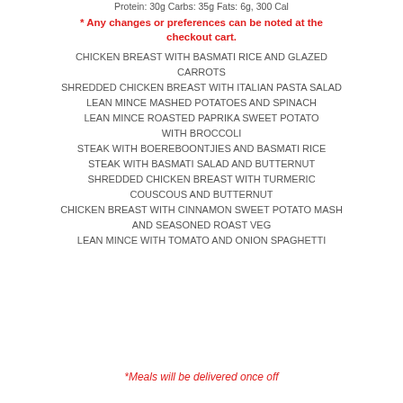Protein: 30g Carbs: 35g Fats: 6g, 300 Cal
* Any changes or preferences can be noted at the checkout cart.
CHICKEN BREAST WITH BASMATI RICE AND GLAZED CARROTS
SHREDDED CHICKEN BREAST WITH ITALIAN PASTA SALAD
LEAN MINCE MASHED POTATOES AND SPINACH
LEAN MINCE ROASTED PAPRIKA SWEET POTATO WITH BROCCOLI
STEAK WITH BOEREBOONTJIES AND BASMATI RICE
STEAK WITH BASMATI SALAD AND BUTTERNUT
SHREDDED CHICKEN BREAST WITH TURMERIC COUSCOUS AND BUTTERNUT
CHICKEN BREAST WITH CINNAMON SWEET POTATO MASH AND SEASONED ROAST VEG
LEAN MINCE WITH TOMATO AND ONION SPAGHETTI
*Meals will be delivered once off